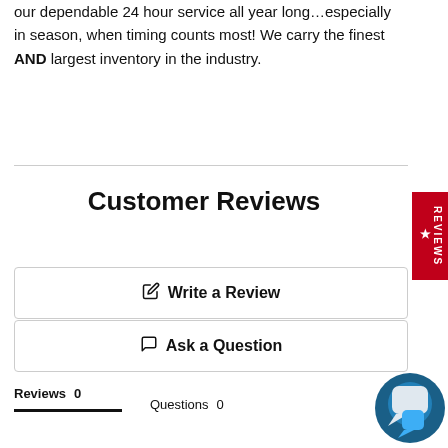our dependable 24 hour service all year long…especially in season, when timing counts most! We carry the finest AND largest inventory in the industry.
Customer Reviews
✏ Write a Review
💬 Ask a Question
Reviews 0    Questions 0